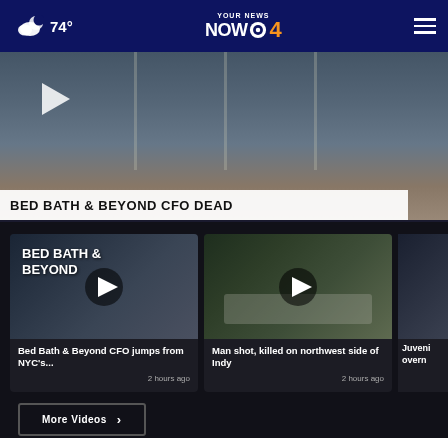74° Your News NOW CBS 4
[Figure (screenshot): Hero video thumbnail showing a building exterior with a play button overlay and lower-third banner reading BED BATH & BEYOND CFO DEAD]
BED BATH & BEYOND CFO DEAD
[Figure (screenshot): Video thumbnail of Bed Bath & Beyond store sign with play button]
Bed Bath & Beyond CFO jumps from NYC's...
2 hours ago
[Figure (screenshot): Video thumbnail of a street scene with a white car and play button]
Man shot, killed on northwest side of Indy
2 hours ago
[Figure (screenshot): Partial video thumbnail (third card, partially visible)]
Juveni overn
More Videos ›